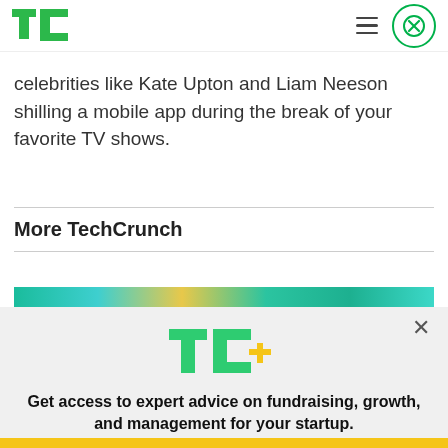TechCrunch
celebrities like Kate Upton and Liam Neeson shilling a mobile app during the break of your favorite TV shows.
More TechCrunch
[Figure (photo): Colorful image strip preview of an article]
[Figure (logo): TC+ logo in modal overlay]
Get access to expert advice on fundraising, growth, and management for your startup.